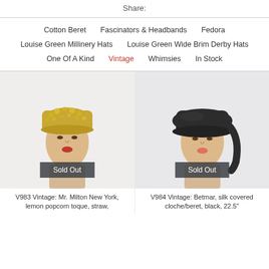Share:
Cotton Beret
Fascinators & Headbands
Fedora
Louise Green Millinery Hats
Louise Green Wide Brim Derby Hats
One Of A Kind
Vintage
Whimsies
In Stock
[Figure (photo): Mannequin wearing a yellow/gold lemon popcorn toque hat with a Sold Out badge]
V983 Vintage: Mr. Milton New York, lemon popcorn toque, straw,
[Figure (photo): Mannequin wearing a black silk covered cloche/beret hat with a Sold Out badge]
V984 Vintage: Betmar, silk covered cloche/beret, black, 22.5"